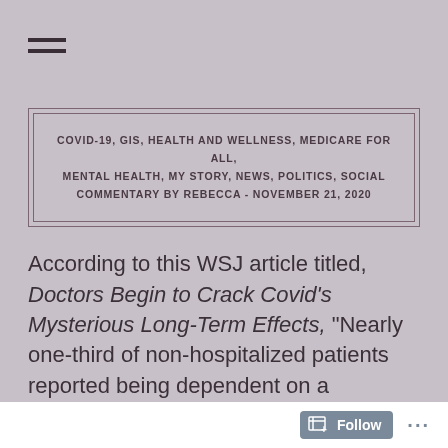≡
COVID-19, GIS, HEALTH AND WELLNESS, MEDICARE FOR ALL, MENTAL HEALTH, MY STORY, NEWS, POLITICS, SOCIAL COMMENTARY by REBECCA - NOVEMBER 21, 2020
According to this WSJ article titled, Doctors Begin to Crack Covid's Mysterious Long-Term Effects, "Nearly one-third of non-hospitalized patients reported being dependent on a caregiver three months after symptoms started…millions are living with long-term, sometimes disabling
Follow ...